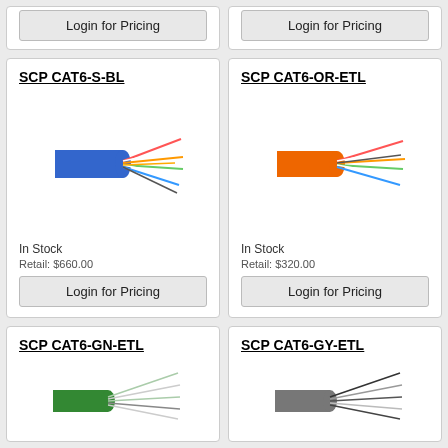Login for Pricing
Login for Pricing
SCP CAT6-S-BL
[Figure (photo): Blue CAT6 ethernet cable with exposed twisted wire pairs on the right end]
In Stock
Retail: $660.00
Login for Pricing
SCP CAT6-OR-ETL
[Figure (photo): Orange CAT6 ethernet cable with exposed twisted wire pairs on the right end]
In Stock
Retail: $320.00
Login for Pricing
SCP CAT6-GN-ETL
[Figure (photo): Green CAT6 ethernet cable with exposed twisted wire pairs on the right end]
SCP CAT6-GY-ETL
[Figure (photo): Gray CAT6 ethernet cable with exposed twisted wire pairs on the right end]